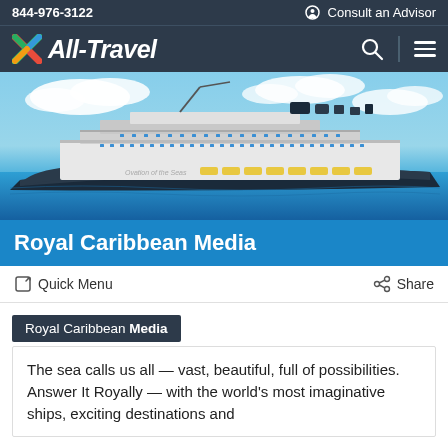844-976-3122   Consult an Advisor
All-Travel
[Figure (photo): Large cruise ship (Ovation of the Seas / Royal Caribbean) sailing on blue Caribbean waters with blue sky and clouds]
Royal Caribbean Media
Quick Menu   Share
Royal Caribbean Media
The sea calls us all — vast, beautiful, full of possibilities. Answer It Royally — with the world's most imaginative ships, exciting destinations and